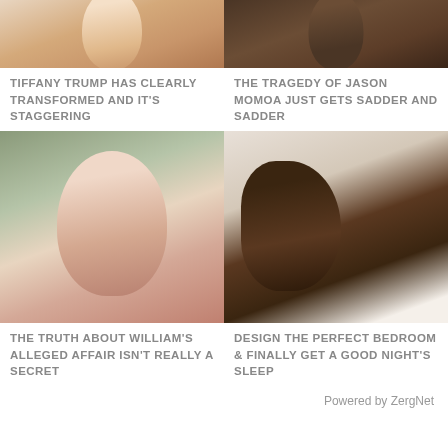[Figure (photo): Photo of Tiffany Trump (partial, cropped top)]
[Figure (photo): Photo of Jason Momoa (partial, cropped top)]
TIFFANY TRUMP HAS CLEARLY TRANSFORMED AND IT'S STAGGERING
THE TRAGEDY OF JASON MOMOA JUST GETS SADDER AND SADDER
[Figure (photo): Photo of Prince William, headshot portrait]
[Figure (photo): Photo of man sleeping on pillow]
THE TRUTH ABOUT WILLIAM'S ALLEGED AFFAIR ISN'T REALLY A SECRET
DESIGN THE PERFECT BEDROOM & FINALLY GET A GOOD NIGHT'S SLEEP
Powered by ZergNet